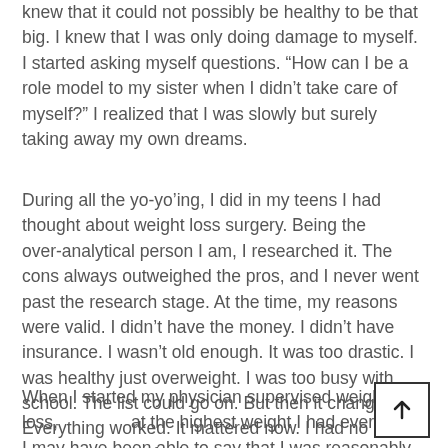knew that it could not possibly be healthy to be that big. I knew that I was only doing damage to myself. I started asking myself questions. “How can I be a role model to my sister when I didn’t take care of myself?” I realized that I was slowly but surely taking away my own dreams.
During all the yo-yo’ing, I did in my teens I had thought about weight loss surgery. Being the over-analytical person I am, I researched it. The cons always outweighed the pros, and I never went past the research stage. At the time, my reasons were valid. I didn’t have the money. I didn’t have insurance. I wasn’t old enough. It was too drastic. I was healthy just overweight. I was too busy with school. The list could go on. But then it changed. Everything worked. It mattered now. I had no reason not to go for it.
When I started my physician supervised weight loss, at the highest weight I had ever been. I may have been able to say that I was reasonably healthy, but I would not